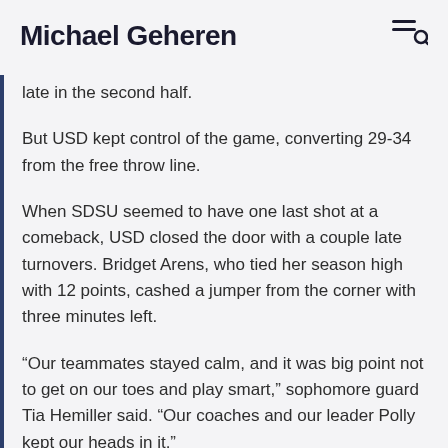Michael Geheren
late in the second half.
But USD kept control of the game, converting 29-34 from the free throw line.
When SDSU seemed to have one last shot at a comeback, USD closed the door with a couple late turnovers. Bridget Arens, who tied her season high with 12 points, cashed a jumper from the corner with three minutes left.
“Our teammates stayed calm, and it was big point not to get on our toes and play smart,” sophomore guard Tia Hemiller said. “Our coaches and our leader Polly kept our heads in it.”